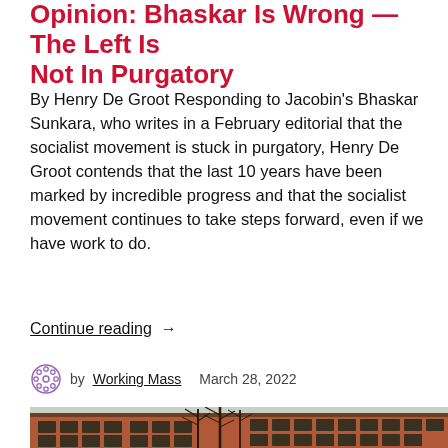Opinion: Bhaskar Is Wrong — The Left Is Not In Purgatory
By Henry De Groot Responding to Jacobin's Bhaskar Sunkara, who writes in a February editorial that the socialist movement is stuck in purgatory, Henry De Groot contends that the last 10 years have been marked by incredible progress and that the socialist movement continues to take steps forward, even if we have work to do.
Continue reading  →
by Working Mass   March 28, 2022
[Figure (photo): Exterior of a red brick building with bare trees in front, photographed in winter or early spring.]